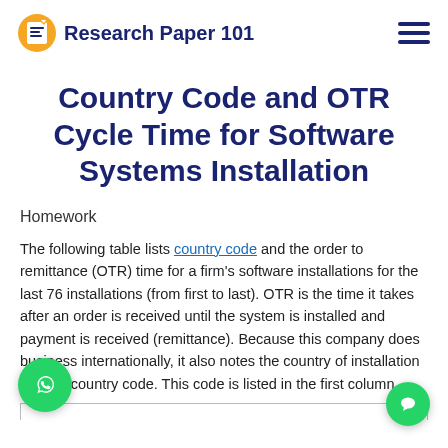Research Paper 101
Country Code and OTR Cycle Time for Software Systems Installation
Homework
The following table lists country code and the order to remittance (OTR) time for a firm's software installations for the last 76 installations (from first to last). OTR is the time it takes after an order is received until the system is installed and payment is received (remittance). Because this company does business internationally, it also notes the country of installation using a country code. This code is listed in the first column.